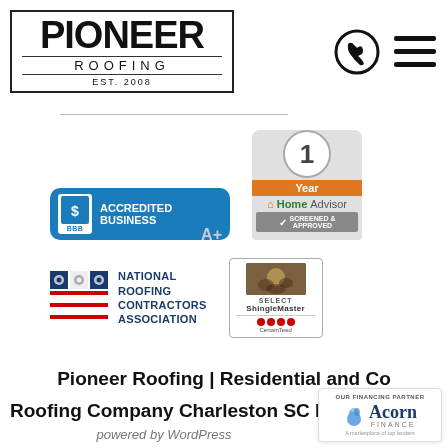[Figure (logo): Pioneer Roofing logo in bordered box with 'PIONEER ROOFING EST. 2008' text]
[Figure (infographic): Phone/call icon and hamburger menu icon for navigation]
[Figure (logo): BBB Accredited Business A+ badge in blue]
[Figure (logo): HomeAdvisor 1 Year Screened & Approved badge]
[Figure (logo): National Roofing Contractors Association logo]
[Figure (logo): SELECT ShingleMaster CertainTeed badge]
Pioneer Roofing | Residential and Commercial Roofing Company Charleston SC
powered by WordPress
[Figure (logo): Acorn Finance - OUR FINANCING PARTNER - A marketplace of top lenders]